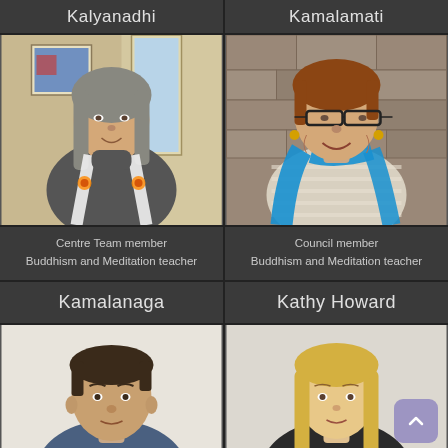Kalyanadhi
Kamalamati
[Figure (photo): Portrait photo of Kalyanadhi, a woman with long grey hair wearing a grey turtleneck sweater and a white ceremonial sash with Buddhist emblems]
[Figure (photo): Portrait photo of Kamalamati, an older woman with short reddish hair wearing glasses and a bright blue scarf over a striped top, standing in front of a stone wall]
Centre Team member
Buddhism and Meditation teacher
Council member
Buddhism and Meditation teacher
Kamalanaga
Kathy Howard
[Figure (photo): Portrait photo of Kamalanaga, a young man with short dark hair against a light background]
[Figure (photo): Portrait photo of Kathy Howard, a young woman with long blonde hair against a light background]